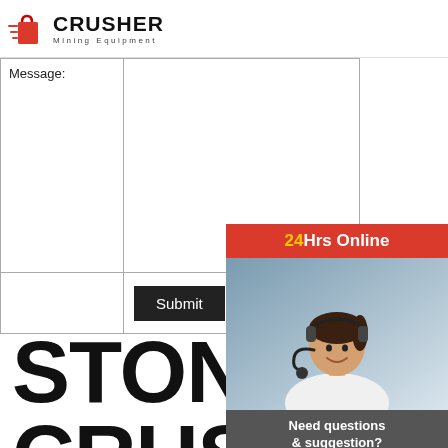[Figure (logo): CRUSHER Mining Equipment logo with red shopping bag icon with speed lines]
| Message: |  |
|  | Submit |
STONE CRUSHER PLANT FROM GERMANY
[Figure (infographic): 24Hrs Online sidebar with customer service representative photo, 'Need questions & suggestion? Chat Now', Enquiry, limingjlmofen@sina.com]